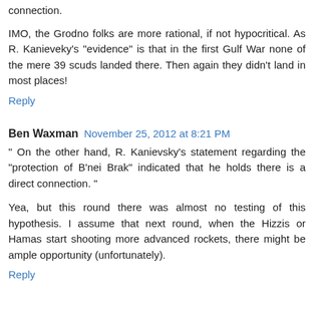connection.
IMO, the Grodno folks are more rational, if not hypocritical. As R. Kanieveky's "evidence" is that in the first Gulf War none of the mere 39 scuds landed there. Then again they didn't land in most places!
Reply
Ben Waxman  November 25, 2012 at 8:21 PM
" On the other hand, R. Kanievsky's statement regarding the "protection of B'nei Brak" indicated that he holds there is a direct connection. "
Yea, but this round there was almost no testing of this hypothesis. I assume that next round, when the Hizzis or Hamas start shooting more advanced rockets, there might be ample opportunity (unfortunately).
Reply